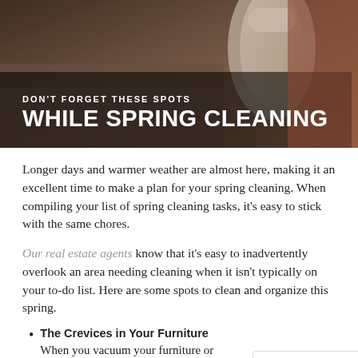[Figure (photo): Dark photo of carpet/upholstery with a vacuum cleaning tool, overlaid with text: 'DON'T FORGET THESE SPOTS' and 'WHILE SPRING CLEANING' in white bold text on dark background.]
Longer days and warmer weather are almost here, making it an excellent time to make a plan for your spring cleaning. When compiling your list of spring cleaning tasks, it's easy to stick with the same chores.
Our real estate agents know that it's easy to inadvertently overlook an area needing cleaning when it isn't typically on your to-do list. Here are some spots to clean and organize this spring.
The Crevices in Your Furniture — When you vacuum your furniture or wipe it down, typical to focus on the upholstery since it's the area that